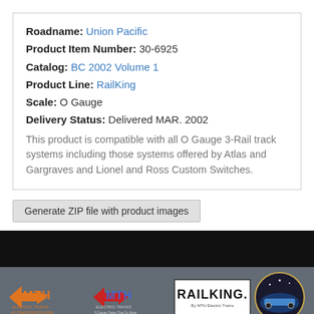Roadname: Union Pacific
Product Item Number: 30-6925
Catalog: BC 2002 Volume 1
Product Line: RailKing
Scale: O Gauge
Delivery Status: Delivered MAR. 2002
This product is compatible with all O Gauge 3-Rail track systems including those systems offered by Atlas and Gargraves and Lionel and Ross Custom Switches.
Generate ZIP file with product images
[Figure (logo): MTH Electric Trains orange logo - HO Trains That Do More]
[Figure (logo): MTH Electric Trains smaller logo - S Gauge Trains That Do More]
[Figure (logo): RailKing by MTH Electric Trains logo]
[Figure (logo): MTH Electric Trains circular emblem with train illustration]